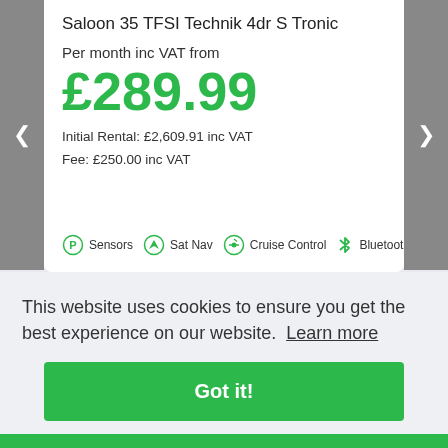Saloon 35 TFSI Technik 4dr S Tronic
Per month inc VAT from
£289.99
Initial Rental: £2,609.91 inc VAT
Fee: £250.00 inc VAT
Sensors  Sat Nav  Cruise Control  Bluetooth
This website uses cookies to ensure you get the best experience on our website.  Learn more
Got it!